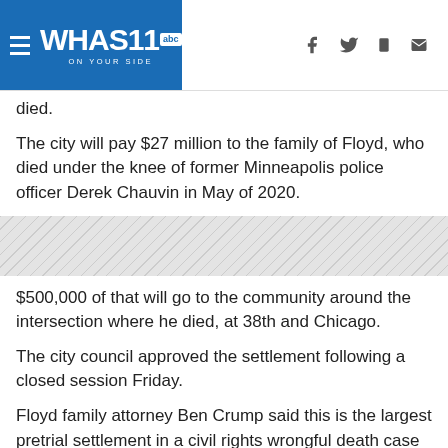WHAS11 abc ON YOUR SIDE
died.
The city will pay $27 million to the family of Floyd, who died under the knee of former Minneapolis police officer Derek Chauvin in May of 2020.
[Figure (other): Diagonal hatching/striped decorative band]
$500,000 of that will go to the community around the intersection where he died, at 38th and Chicago.
The city council approved the settlement following a closed session Friday.
Floyd family attorney Ben Crump said this is the largest pretrial settlement in a civil rights wrongful death case in U.S. history. The largest police settlement in Minneapolis